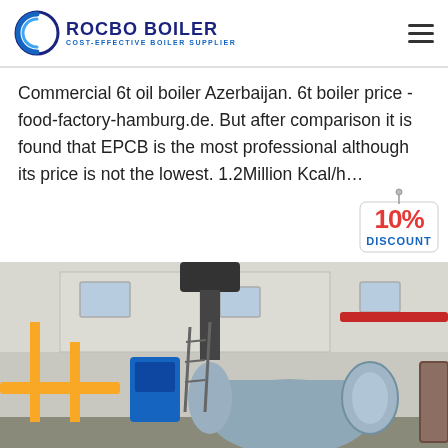ROCBO BOILER - COST-EFFECTIVE BOILER SUPPLIER
Commercial 6t oil boiler Azerbaijan. 6t boiler price - food-factory-hamburg.de. But after comparison it is found that EPCB is the most professional although its price is not the lowest. 1.2Million Kcal/h…
[Figure (other): Green 'Get Price' button]
[Figure (other): 10% DISCOUNT badge stamp in red and blue colors]
[Figure (photo): Industrial boiler room interior showing a large horizontal boiler with pipes and yellow structural supports, photographed from a low angle looking up]